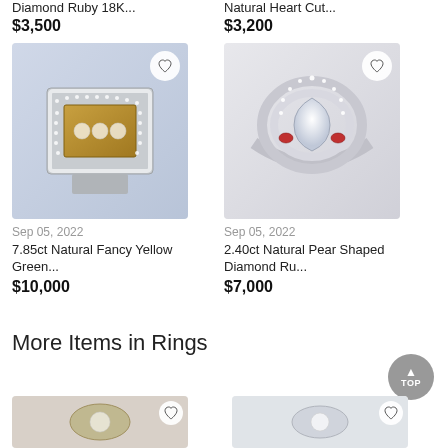Diamond Ruby 18K...
$3,500
Natural Heart Cut...
$3,200
[Figure (photo): Diamond and gold ring with fancy yellow green stones, square/rectangular design with pave diamonds]
Sep 05, 2022
7.85ct Natural Fancy Yellow Green...
$10,000
[Figure (photo): Pear shaped diamond ring with ruby accents and double halo setting]
Sep 05, 2022
2.40ct Natural Pear Shaped Diamond Ru...
$7,000
More Items in Rings